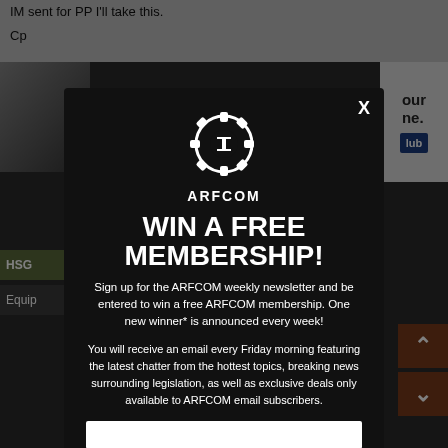IM sent for PP I'll take this.
Cp
[Figure (screenshot): Background webpage with forum content, face photo, advertisement, navigation bars, and scroll arrows]
[Figure (infographic): ARFCOM modal popup with gear logo, WIN A FREE MEMBERSHIP! headline, newsletter signup description, and email input field]